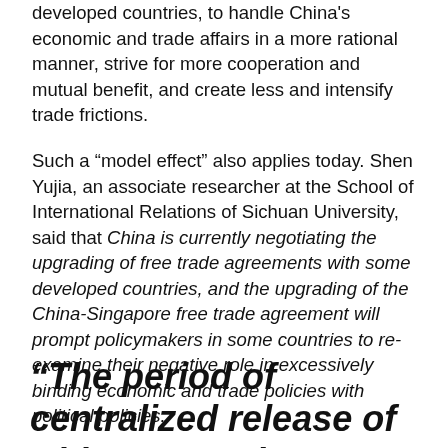developed countries, to handle China's economic and trade affairs in a more rational manner, strive for more cooperation and mutual benefit, and create less and intensify trade frictions.
Such a “model effect” also applies today. Shen Yujia, an associate researcher at the School of International Relations of Sichuan University, said that China is currently negotiating the upgrading of free trade agreements with some developed countries, and the upgrading of the China-Singapore free trade agreement will prompt policymakers in some countries to re-examine their negative role in excessively binding economic and trade policies with political policies.
“The period of centralized release of China’s opening-up